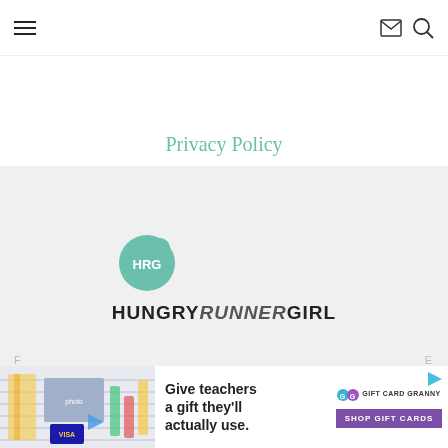Hamburger menu | Mail icon | Search icon
Privacy Policy
[Figure (logo): HRG teal circle logo with text HUNGRY RUNNER GIRL below on gray background]
[Figure (other): Advertisement banner: Give teachers a gift they'll actually use. GG Gift Card Granny. Shop Gift Cards button.]